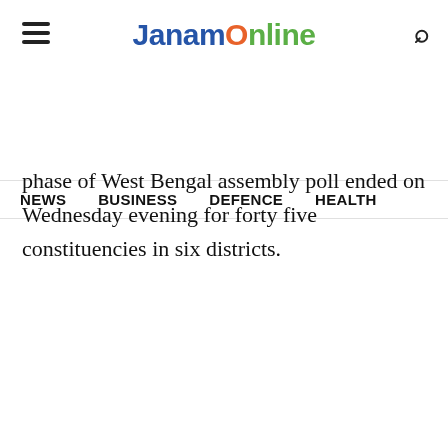JanamOnline
NEWS  BUSINESS  DEFENCE  HEALTH
phase of West Bengal assembly poll ended on Wednesday evening for forty five constituencies in six districts.